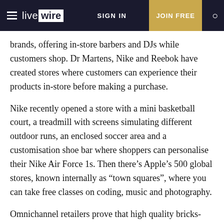live wire | SIGN IN | JOIN FREE
brands, offering in-store barbers and DJs while customers shop. Dr Martens, Nike and Reebok have created stores where customers can experience their products in-store before making a purchase.
Nike recently opened a store with a mini basketball court, a treadmill with screens simulating different outdoor runs, an enclosed soccer area and a customisation shoe bar where shoppers can personalise their Nike Air Force 1s. Then there's Apple's 500 global stores, known internally as “town squares”, where you can take free classes on coding, music and photography.
Omnichannel retailers prove that high quality bricks-and-mortar stores can integrate with online marketing